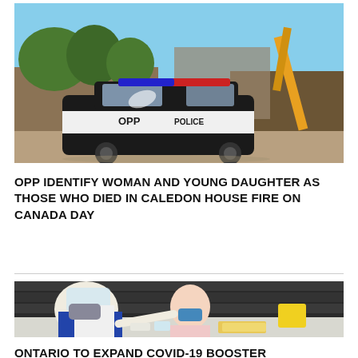[Figure (photo): OPP police car parked at a scene with debris and construction equipment in the background, sunny day]
OPP IDENTIFY WOMAN AND YOUNG DAUGHTER AS THOSE WHO DIED IN CALEDON HOUSE FIRE ON CANADA DAY
[Figure (photo): A healthcare worker in PPE (face shield, mask, gloves) administering a vaccine to a young child wearing a blue mask, in what appears to be an arena setting with stadium seating in the background]
ONTARIO TO EXPAND COVID-19 BOOSTER